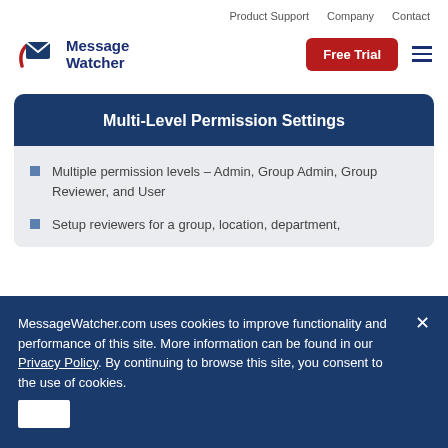Product Support   Company   Contact
[Figure (logo): Message Watcher logo with envelope icon and red/blue text]
Free Trial
Multi-Level Permission Settings
Multiple permission levels – Admin, Group Admin, Group Reviewer, and User
Setup reviewers for a group, location, department,
MessageWatcher.com uses cookies to improve functionality and performance of this site. More information can be found in our Privacy Policy. By continuing to browse this site, you consent to the use of cookies.